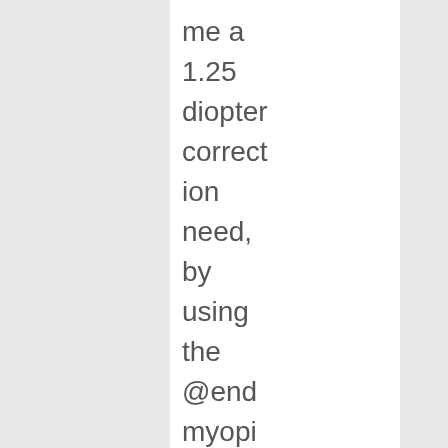me a 1.25 diopter correction need, by using the @end myopi